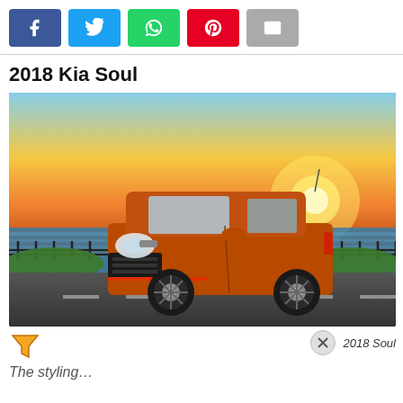Social share buttons: Facebook, Twitter, WhatsApp, Pinterest, Email
2018 Kia Soul
[Figure (photo): Orange 2018 Kia Soul parked on a road with ocean and sunset in the background]
2018 Soul
The styling…